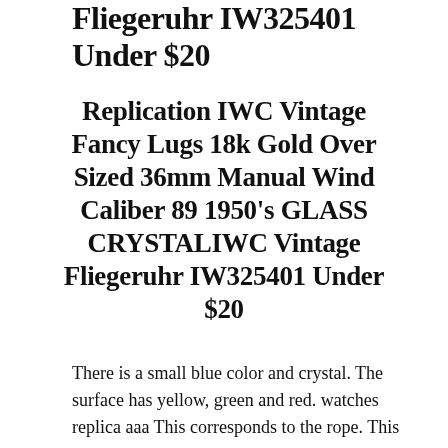Fliegeruhr IW325401 Under $20
Replication IWC Vintage Fancy Lugs 18k Gold Over Sized 36mm Manual Wind Caliber 89 1950's GLASS CRYSTALIWC Vintage Fliegeruhr IW325401 Under $20
There is a small blue color and crystal. The surface has yellow, green and red. watches replica aaa This corresponds to the rope. This